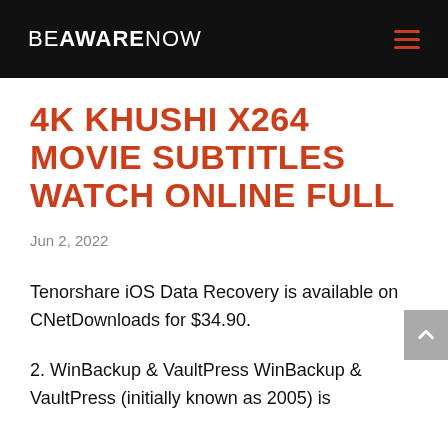BEAWARENOW
4K KHUSHI X264 MOVIE SUBTITLES WATCH ONLINE FULL
Jun 2, 2022
Tenorshare iOS Data Recovery is available on CNetDownloads for $34.90.
2. WinBackup & VaultPress WinBackup & VaultPress (initially known as 2005) is